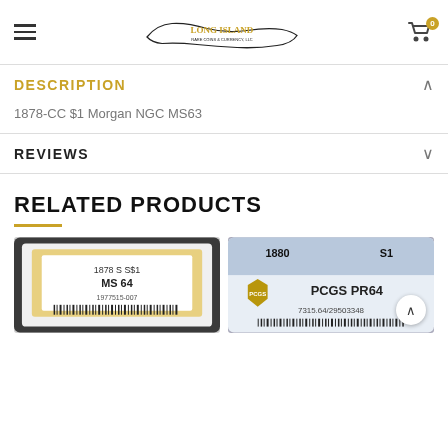Long Island Rare Coins & Currency, LLC — navigation header with hamburger menu and cart
DESCRIPTION
1878-CC $1 Morgan NGC MS63
REVIEWS
RELATED PRODUCTS
[Figure (photo): NGC graded coin slab showing 1878 S S$1 MS 64, certification number 1977515-007]
[Figure (photo): PCGS graded coin slab showing 1880 S1 PCGS PR64, certification number 7315.64/29503348]